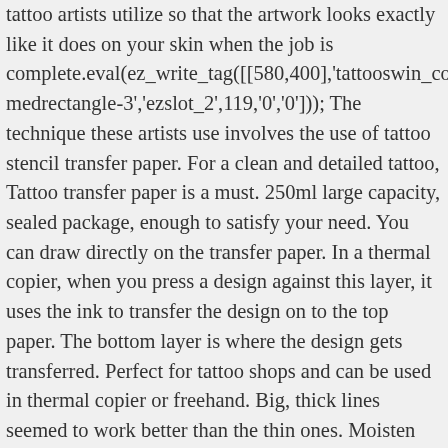tattoo artists utilize so that the artwork looks exactly like it does on your skin when the job is complete.eval(ez_write_tag([[580,400],'tattooswin_com-medrectangle-3','ezslot_2',119,'0','0'])); The technique these artists use involves the use of tattoo stencil transfer paper. For a clean and detailed tattoo, Tattoo transfer paper is a must. 250ml large capacity, sealed package, enough to satisfy your need. You can draw directly on the transfer paper. In a thermal copier, when you press a design against this layer, it uses the ink to transfer the design on to the top paper. The bottom layer is where the design gets transferred. Perfect for tattoo shops and can be used in thermal copier or freehand. Big, thick lines seemed to work better than the thin ones. Moisten the area with green soap sprayed from a spray bottle. How to Use Tattoo Transfer Paper. If you have a dot-matrix printer, then you can use it for a hectograph transfer paper. Click here for instructions on how to enable JavaScript in your browser. From the old school carbon papers, research has brought us to the thermal tattoo transfer paper. Fasten all three sheets